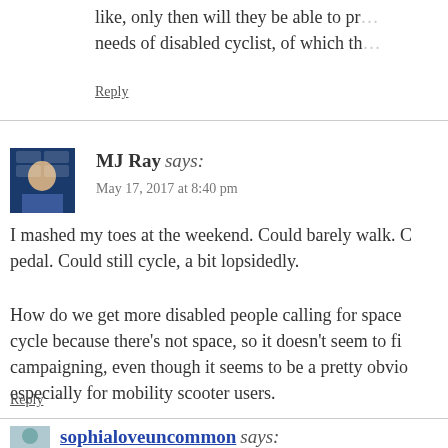like, only then will they be able to provide for the needs of disabled cyclist, of which the
Reply
MJ Ray says:
May 17, 2017 at 8:40 pm
I mashed my toes at the weekend. Could barely walk. Could pedal. Could still cycle, a bit lopsidedly.
How do we get more disabled people calling for space cycle because there's not space, so it doesn't seem to fi campaigning, even though it seems to be a pretty obvio especially for mobility scooter users.
Reply
sophialoveuncommon says: